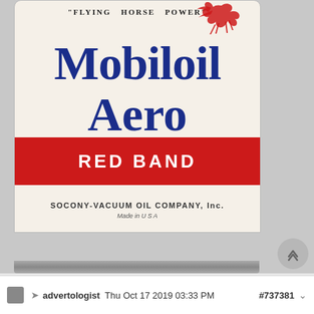[Figure (photo): Vintage Mobiloil Aero Red Band oil can with red Pegasus flying horse logo, text reading 'FLYING HORSE POWER', 'Mobiloil Aero', 'RED BAND', 'SOCONY-VACUUM OIL COMPANY, Inc.', 'Made in U.S.A.']
advertologist   Thu Oct 17 2019 03:33 PM   #737381